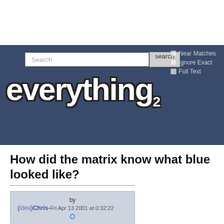[Figure (screenshot): Everything2 website header with search bar, Near Matches/Ignore Exact/Full Text checkboxes, and everything2 logo on dark blue background]
How did the matrix know what blue looked like?
by (idea) Chris - Fri Apr 13 2001 at 0:32:22
This is actually a fairly serious question in philosphy: how do we know...